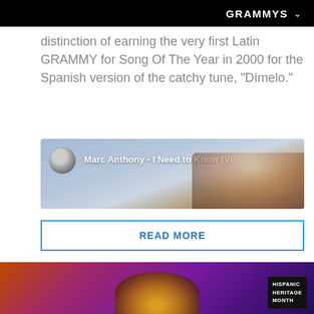GRAMMYS
distinction of earning the very first Latin GRAMMY for Song Of The Year in 2000 for the Spanish version of the catchy tune, "Dímelo."
[Figure (screenshot): YouTube video thumbnail showing Marc Anthony - I Need to Know (Video) with a circular avatar on the left and the video title text overlay on a faded background of a person's face]
READ MORE
[Figure (photo): Photo of a person with dark hair against a colorful purple/magenta/orange background with a 'HISPANIC HERITAGE MONTH' badge in the bottom right corner]